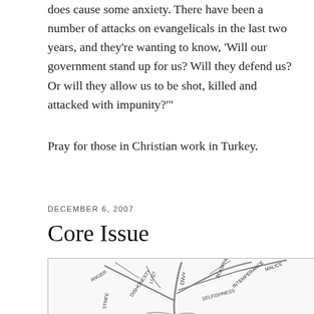does cause some anxiety. There have been a number of attacks on evangelicals in the last two years, and they’re wanting to know, ‘Will our government stand up for us? Will they defend us? Or will they allow us to be shot, killed and attacked with impunity?’”
Pray for those in Christian work in Turkey.
DECEMBER 6, 2007
Core Issue
[Figure (illustration): A detailed pencil/ink illustration of a tree with branches labeled with various sins: ANGER, LUST, DISHONESTY, STRIFE, ENVY, BLASPHEMY, MALICE, SELFISHNESS, INTEMPERANCE]
Today, I